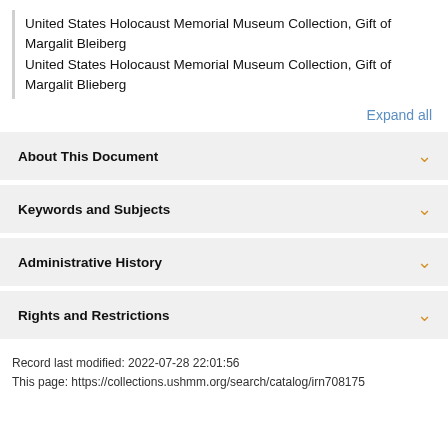United States Holocaust Memorial Museum Collection, Gift of Margalit Bleiberg
United States Holocaust Memorial Museum Collection, Gift of Margalit Blieberg
Expand all
About This Document
Keywords and Subjects
Administrative History
Rights and Restrictions
Record last modified: 2022-07-28 22:01:56
This page: https://collections.ushmm.org/search/catalog/irn708175